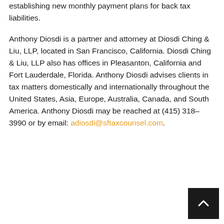establishing new monthly payment plans for back tax liabilities.
Anthony Diosdi is a partner and attorney at Diosdi Ching & Liu, LLP, located in San Francisco, California. Diosdi Ching & Liu, LLP also has offices in Pleasanton, California and Fort Lauderdale, Florida. Anthony Diosdi advises clients in tax matters domestically and internationally throughout the United States, Asia, Europe, Australia, Canada, and South America. Anthony Diosdi may be reached at (415) 318-3990 or by email: adiosdi@sftaxcounsel.com.